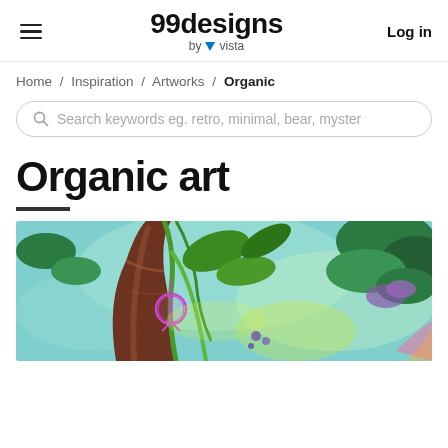99designs by vista — Log in
Home / Inspiration / Artworks / Organic
Search keywords eg. retro, minimal, bear, myster
Organic art
[Figure (illustration): Digital illustration of a tropical forest scene with a large brown tree trunk, green vines, leaves in various shades, a peace sign pendant, and colorful abstract background in teal/aqua tones with yellow-green highlights.]